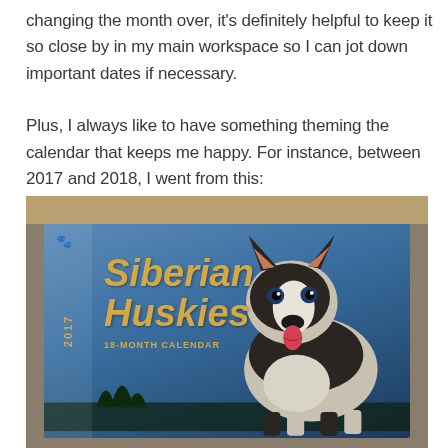changing the month over, it's definitely helpful to keep it so close by in my main workspace so I can jot down important dates if necessary.

Plus, I always like to have something theming the calendar that keeps me happy. For instance, between 2017 and 2018, I went from this:
[Figure (photo): Photo of a 2017 Siberian Huskies 18-month wall calendar. The cover shows a Siberian Husky dog against a blue sky background, with bold gold italic text reading 'Siberian Huskies' and '18-MONTH CALENDAR' below. The year '2017' and a paw print icon appear on the left spine strip. The calendar is resting on a tan/beige wooden surface.]